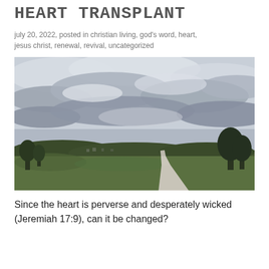HEART TRANSPLANT
july 20, 2022, posted in christian living, god's word, heart, jesus christ, renewal, revival, uncategorized
[Figure (photo): Landscape photo showing a rural scene with a winding road on the right, green fields, trees, distant hills and mountains, under a dramatic overcast sky with layered grey clouds.]
Since the heart is perverse and desperately wicked (Jeremiah 17:9), can it be changed?